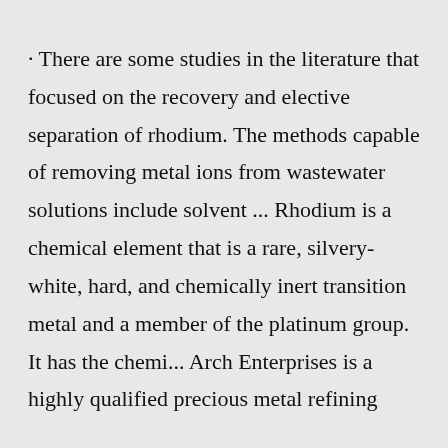· There are some studies in the literature that focused on the recovery and elective separation of rhodium. The methods capable of removing metal ions from wastewater solutions include solvent ... Rhodium is a chemical element that is a rare, silvery-white, hard, and chemically inert transition metal and a member of the platinum group. It has the chemi... Arch Enterprises is a highly qualified precious metal refining